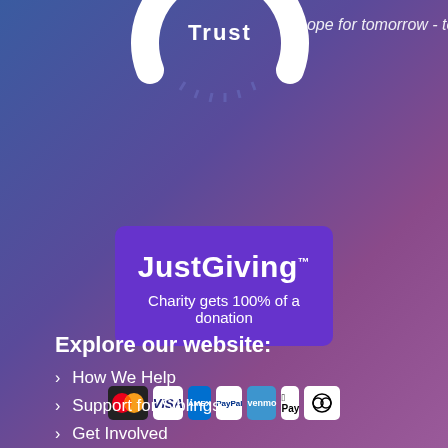[Figure (logo): Circular arc logo with 'Trust' text and tagline 'hope for tomorrow - today']
[Figure (other): JustGiving purple banner with text 'JustGiving™ Charity gets 100% of a donation' and payment method icons: Mastercard, Visa, Amex, PayPal, Venmo, Apple Pay, Diners Club]
Explore our website:
How We Help
Support for Siblings
Get Involved
Events
Make a Donation
Contact Us